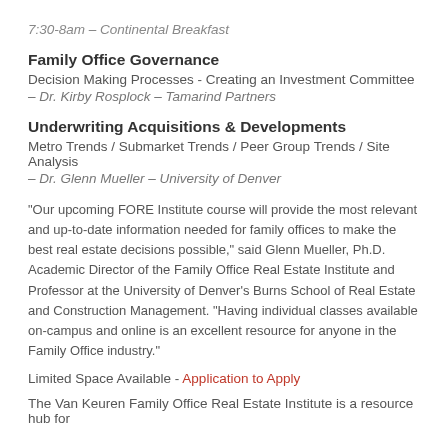7:30-8am – Continental Breakfast
Family Office Governance
Decision Making Processes - Creating an Investment Committee
– Dr. Kirby Rosplock – Tamarind Partners
Underwriting Acquisitions & Developments
Metro Trends / Submarket Trends / Peer Group Trends / Site Analysis
– Dr. Glenn Mueller – University of Denver
"Our upcoming FORE Institute course will provide the most relevant and up-to-date information needed for family offices to make the best real estate decisions possible," said Glenn Mueller, Ph.D. Academic Director of the Family Office Real Estate Institute and Professor at the University of Denver's Burns School of Real Estate and Construction Management. "Having individual classes available on-campus and online is an excellent resource for anyone in the Family Office industry."
Limited Space Available - Application to Apply
The Van Keuren Family Office Real Estate Institute is a resource hub for